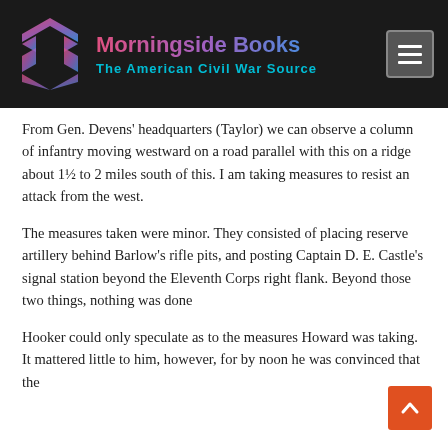Morningside Books — The American Civil War Source
From Gen. Devens' headquarters (Taylor) we can observe a column of infantry moving westward on a road parallel with this on a ridge about 1½ to 2 miles south of this. I am taking measures to resist an attack from the west.
The measures taken were minor. They consisted of placing reserve artillery behind Barlow's rifle pits, and posting Captain D. E. Castle's signal station beyond the Eleventh Corps right flank. Beyond those two things, nothing was done
Hooker could only speculate as to the measures Howard was taking. It mattered little to him, however, for by noon he was convinced that the